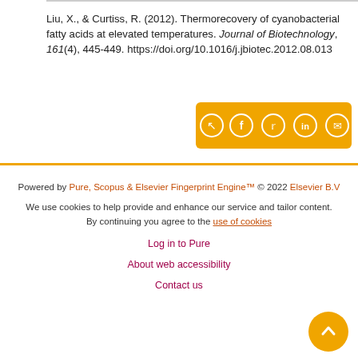Liu, X., & Curtiss, R. (2012). Thermorecovery of cyanobacterial fatty acids at elevated temperatures. Journal of Biotechnology, 161(4), 445-449. https://doi.org/10.1016/j.jbiotec.2012.08.013
[Figure (other): Share buttons row: share icon, Facebook, Twitter, LinkedIn, Email on gold/amber background]
Powered by Pure, Scopus & Elsevier Fingerprint Engine™ © 2022 Elsevier B.V
We use cookies to help provide and enhance our service and tailor content. By continuing you agree to the use of cookies
Log in to Pure
About web accessibility
Contact us